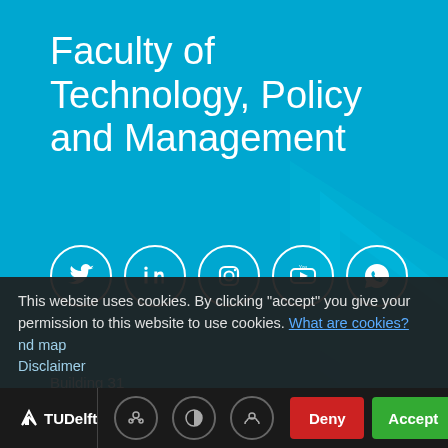Faculty of Technology, Policy and Management
[Figure (infographic): Row of 5 white-outlined social media icons on cyan background: Twitter, LinkedIn, Instagram, YouTube, WhatsApp]
Building 31
Jaffalaan 5
2628 BX Delft
Tel: + 31 15 27 89801
This website uses cookies. By clicking "accept" you give your permission to this website to use cookies. What are cookies?
nd map
Disclaimer
[Figure (logo): TU Delft logo in white on dark bar, with cookie, contrast, and headphone icons, and Deny/Accept buttons]